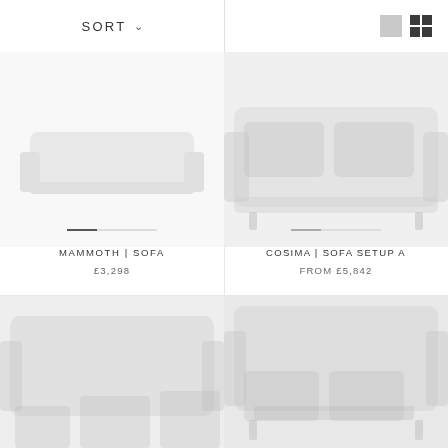SORT
[Figure (screenshot): Product listing for MAMMOTH | SOFA with placeholder image area showing a progress/color swatch bar]
MAMMOTH | SOFA
£3,298
[Figure (photo): Product listing for COSIMA | SOFA SETUP A showing a faint sofa image]
COSIMA | SOFA SETUP A
FROM £5,842
[Figure (photo): Bottom-left product image partially visible]
[Figure (photo): Bottom-right product image partially visible]